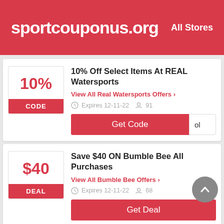sportcouponus.org    All Stores
10% Off Select Items At REAL Watersports
View All Real Watersports Offers >
Expires 12-11-22   91
Get Code   ol
Save $40 ON Bumble Bee All Purchases
View All Bumble Bee Offers >
Expires 12-11-22   68
Get Deal